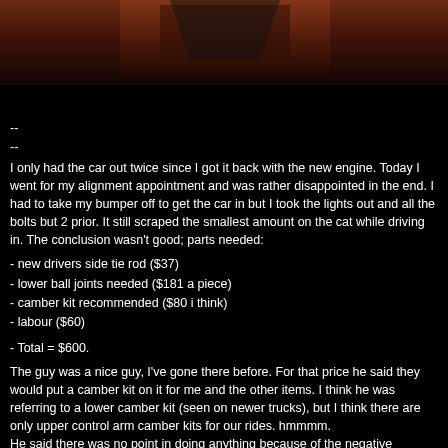[Figure (photo): Dark photo showing a car or vehicle undercarriage/bumper area with reddish-brown tones and dark background]
--
--
I only had the car out twice since I got it back with the new engine. Today I went for my alignment appointment and was rather disappointed in the end. I had to take my bumper off to get the car in but I took the lights out and all the bolts but 2 prior. It still scraped the smallest amount on the cat while driving in. The conclusion wasn't good; parts needed:
- new drivers side tie rod ($37)
- lower ball joints needed ($181 a piece)
- camber kit recommended ($80 i think)
- labour ($60)
- Total = $600.
The guy was a nice guy, I've gone there before. For that price he said they would put a camber kit on it for me and the other items. I think he was referring to a lower camber kit (seen on newer trucks), but I think there are only upper control arm camber kits for our rides. hmmmm.
He said there was no point in doing anything because of the negative camber. He said I had some toe in which wasn't too bad (depends on your style), negative camber, and the little play in the tie rod. So we left the car alone, it doesn't pull to one side or the other anyways.
I had always assumed that I was safe and didn't need a camber kit. I have a small 2" drop. But I have .2 deg. negative camber, so I'll have to look into this, do some research....